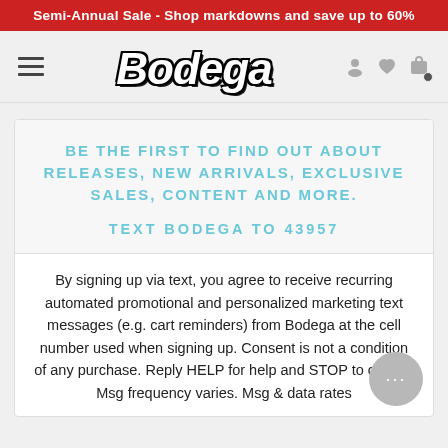Semi-Annual Sale - Shop markdowns and save up to 60%
[Figure (logo): Bodega logo in bold italic black-outlined white lettering with hamburger menu icon and nav icons (user, heart, bag)]
BE THE FIRST TO FIND OUT ABOUT RELEASES, NEW ARRIVALS, EXCLUSIVE SALES, CONTENT AND MORE.
TEXT BODEGA TO 43957
By signing up via text, you agree to receive recurring automated promotional and personalized marketing text messages (e.g. cart reminders) from Bodega at the cell number used when signing up. Consent is not a condition of any purchase. Reply HELP for help and STOP to cancel. Msg frequency varies. Msg & data rates